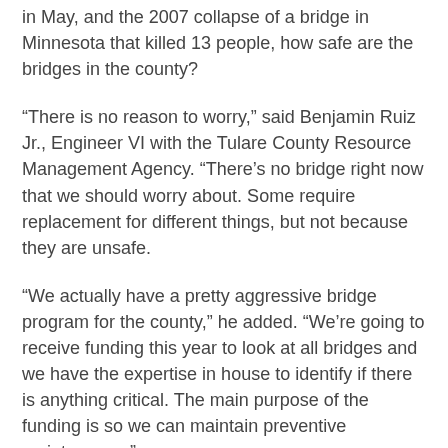in May, and the 2007 collapse of a bridge in Minnesota that killed 13 people, how safe are the bridges in the county?
“There is no reason to worry,” said Benjamin Ruiz Jr., Engineer VI with the Tulare County Resource Management Agency. “There’s no bridge right now that we should worry about. Some require replacement for different things, but not because they are unsafe.
“We actually have a pretty aggressive bridge program for the county,” he added. “We’re going to receive funding this year to look at all bridges and we have the expertise in house to identify if there is anything critical. The main purpose of the funding is so we can maintain preventive maintenance.”
The federal government has funds available that pay 100% of the costs to repair and replace bridges, according to the county’s records.